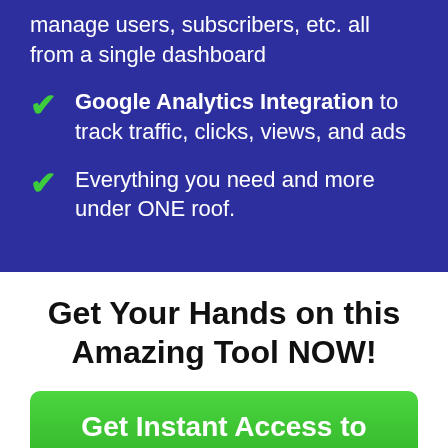manage users, subscribers, etc. all from a single dashboard
Google Analytics Integration to track traffic, clicks, views, and ads
Everything you need and more under ONE roof.
Get Your Hands on this Amazing Tool NOW!
Get Instant Access to Buzzious NOW!!!